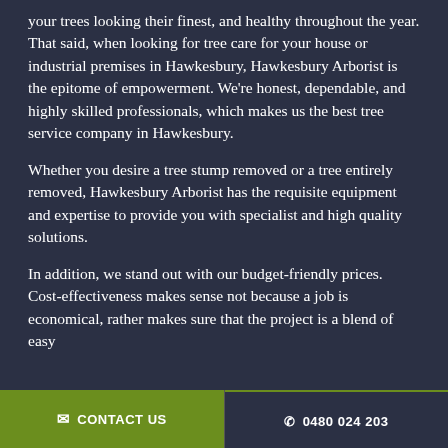your trees looking their finest, and healthy throughout the year. That said, when looking for tree care for your house or industrial premises in Hawkesbury, Hawkesbury Arborist is the epitome of empowerment. We're honest, dependable, and highly skilled professionals, which makes us the best tree service company in Hawkesbury.
Whether you desire a tree stump removed or a tree entirely removed, Hawkesbury Arborist has the requisite equipment and expertise to provide you with specialist and high quality solutions.
In addition, we stand out with our budget-friendly prices. Cost-effectiveness makes sense not because a job is economical, rather makes sure that the project is a blend of easy
✉ CONTACT US    📞 0480 024 203